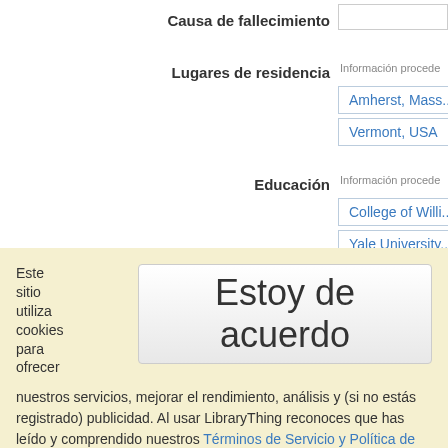Causa de fallecimiento
Lugares de residencia  Información procede...
Amherst, Mass...
Vermont, USA
Educación  Información procede...
College of Willi...
Yale University...
Este sitio utiliza cookies para ofrecer
Estoy de acuerdo
nuestros servicios, mejorar el rendimiento, análisis y (si no estás registrado) publicidad. Al usar LibraryThing reconoces que has leído y comprendido nuestros Términos de Servicio y Política de Privacidad. El uso del sitio y de los servicios está sujeto a estas políticas y términos.